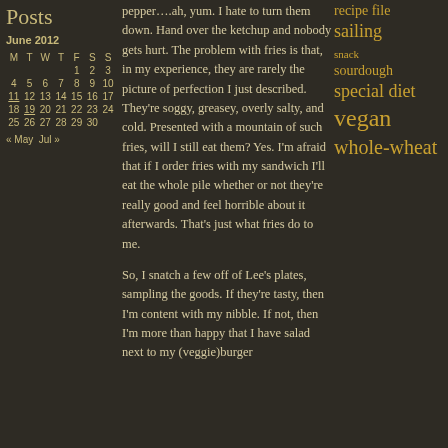Posts
June 2012
| M | T | W | T | F | S | S |
| --- | --- | --- | --- | --- | --- | --- |
|  |  |  |  | 1 | 2 | 3 |
| 4 | 5 | 6 | 7 | 8 | 9 | 10 |
| 11 | 12 | 13 | 14 | 15 | 16 | 17 |
| 18 | 19 | 20 | 21 | 22 | 23 | 24 |
| 25 | 26 | 27 | 28 | 29 | 30 |  |
« May   Jul »
pepper….ah, yum. I hate to turn them down. Hand over the ketchup and nobody gets hurt. The problem with fries is that, in my experience, they are rarely the picture of perfection I just described. They're soggy, greasey, overly salty, and cold. Presented with a mountain of such fries, will I still eat them? Yes. I'm afraid that if I order fries with my sandwich I'll eat the whole pile whether or not they're really good and feel horrible about it afterwards. That's just what fries do to me.
So, I snatch a few off of Lee's plates, sampling the goods. If they're tasty, then I'm content with my nibble. If not, then I'm more than happy that I have salad next to my (veggie)burger
recipe file
sailing
snack
sourdough
special diet
vegan
whole-wheat